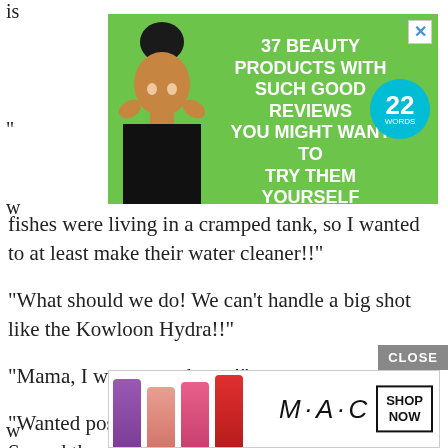is
[Figure (infographic): Green advertisement banner: '37 BEAUTY PRODUCTS WITH SUCH GOOD REVIEWS YOU MIGHT WANT TO TRY THEM YOURSELF' with a woman applying face masks, a teal '22 WORDS' badge, and a close X button.]
fishes were living in a cramped tank, so I wanted to at least make their water cleaner!!”
“What should we do! We can’t handle a big shot like the Kowloon Hydra!!”
“Mama, I want to go home!”
“Wanted posters, post more wanted posters! Spread the posters to all the adventurers in town!”
[Figure (photo): MAC cosmetics advertisement with lipsticks (purple, peach, pink, red), MAC logo in italic, and SHOP NOW button in a box.]